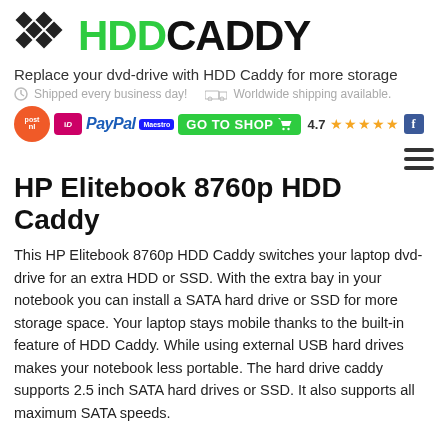[Figure (logo): HDD Caddy logo with diamond pattern and green HDD + black CADDY text]
Replace your dvd-drive with HDD Caddy for more storage
Shipped every business day!  Worldwide shipping available.
[Figure (infographic): PostNL logo, iDEAL badge, PayPal logo, Maestro badge, GO TO SHOP button with cart, 4.7 star rating with Facebook icon]
HP Elitebook 8760p HDD Caddy
This HP Elitebook 8760p HDD Caddy switches your laptop dvd-drive for an extra HDD or SSD. With the extra bay in your notebook you can install a SATA hard drive or SSD for more storage space. Your laptop stays mobile thanks to the built-in feature of HDD Caddy. While using external USB hard drives makes your notebook less portable. The hard drive caddy supports 2.5 inch SATA hard drives or SSD. It also supports all maximum SATA speeds.